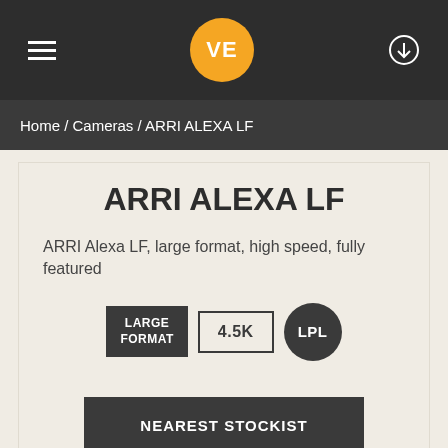VE
Home / Cameras / ARRI ALEXA LF
ARRI ALEXA LF
ARRI Alexa LF, large format, high speed, fully featured
LARGE FORMAT | 4.5K | LPL
NEAREST STOCKIST
or